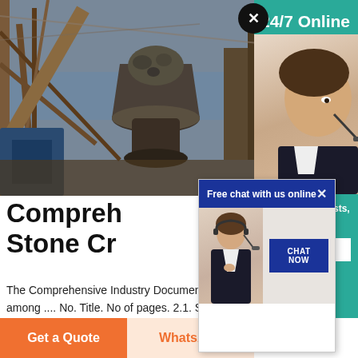[Figure (photo): Aerial/side view of industrial stone crushing machinery with conveyor belts and large cone crusher equipment]
Comprehensive Industry Document on Stone Crushers
The Comprehensive Industry Document on Stone ... among .... No. Title. No of pages. 2.1. Schematic d... various types of crushers. 7. 2.2 ... (NPC) and co... study with the work of reviewing the existing...
[Figure (screenshot): Chat popup with 'Free chat with us online' header, customer service agent photo, and CHAT NOW button]
[Figure (infographic): 24/7 Online panel on right side with agent photo, 'Have any requests, click here.' text and Quotation button]
Get a Quote
WhatsApp